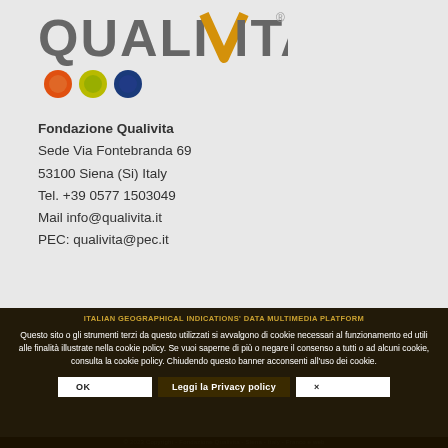[Figure (logo): Qualivita logo with stylized letter V in yellow/orange and three colored circular icons (orange, yellow-green, dark blue) below]
Fondazione Qualivita
Sede Via Fontebranda 69
53100 Siena (Si) Italy
Tel. +39 0577 1503049
Mail info@qualivita.it
PEC: qualivita@pec.it
ITALIAN GEOGRAPHICAL INDICATIONS' DATA MULTIMEDIA PLATFORM
Questo sito o gli strumenti terzi da questo utilizzati si avvalgono di cookie necessari al funzionamento ed utili alle finalità illustrate nella cookie policy. Se vuoi saperne di più o negare il consenso a tutti o ad alcuni cookie, consulta la cookie policy. Chiudendo questo banner acconsenti all'uso dei cookie.
OK
Leggi la Privacy policy
×
© 2023 Copyright - Fondazione Qualivita - Siena - Italy - Franco e web